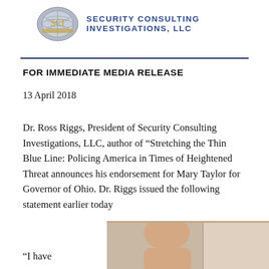[Figure (logo): SCI (Security Consulting Investigations) circular globe logo with eagle, gray and gold tones, alongside company name text]
SECURITY CONSULTING INVESTIGATIONS, LLC
FOR IMMEDIATE MEDIA RELEASE
13 April 2018
Dr. Ross Riggs, President of Security Consulting Investigations, LLC, author of “Stretching the Thin Blue Line: Policing America in Times of Heightened Threat announces his endorsement for Mary Taylor for Governor of Ohio. Dr. Riggs issued the following statement earlier today
[Figure (photo): Partial photo of a person, cropped at bottom right of page]
“I have